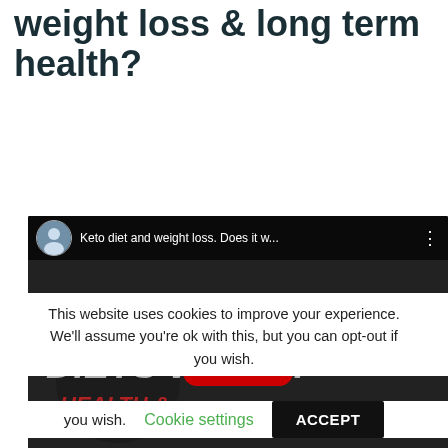weight loss & long term health?
[Figure (screenshot): YouTube video embed showing 'Keto diet and weight loss. Does it w...' with a dark thumbnail featuring text 'DO KETO DIETS WORK?' and 'HEALTH & WEIGHT LOSS' with a red YouTube play button in the center. Channel avatar and title shown in top bar.]
This website uses cookies to improve your experience. We'll assume you're ok with this, but you can opt-out if you wish.
Cookie settings   ACCEPT